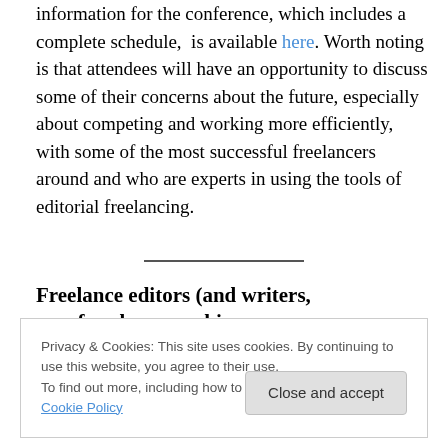information for the conference, which includes a complete schedule, is available here. Worth noting is that attendees will have an opportunity to discuss some of their concerns about the future, especially about competing and working more efficiently, with some of the most successful freelancers around and who are experts in using the tools of editorial freelancing.
Freelance editors (and writers, proofreaders, graphic artists
Privacy & Cookies: This site uses cookies. By continuing to use this website, you agree to their use. To find out more, including how to control cookies, see here: Cookie Policy